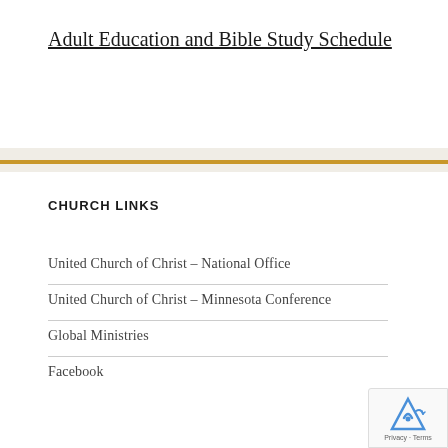Adult Education and Bible Study Schedule
CHURCH LINKS
United Church of Christ – National Office
United Church of Christ – Minnesota Conference
Global Ministries
Facebook